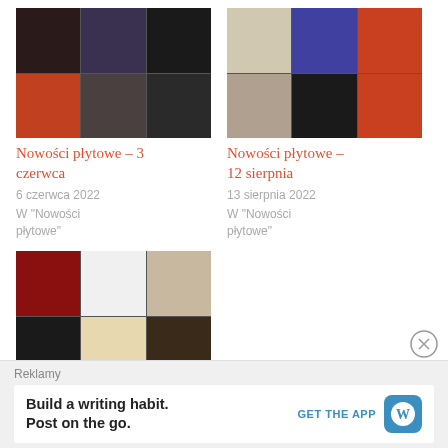[Figure (photo): Grid of 6 album cover images - dark tones, red/purple hues]
Nowości płytowe – 3 czerwca
6 czerwca 2022
W "Nowości płytowe"
[Figure (photo): Grid of 6 album cover images - light/dark tones with orange accents]
Nowości płytowe – 12 sierpnia
13 sierpnia 2022
W "Nowości płytowe"
[Figure (photo): Grid of 6 album cover images - figures on white/dark backgrounds]
Nowości płytowe – 24 czerwca
25 czerwca 2022
W "Nowości płytowe"
Reklamy
Build a writing habit. Post on the go.
GET THE APP